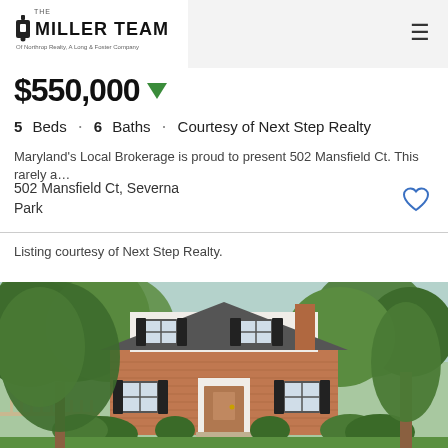The Miller Team — Of Northrop Realty, A Long & Foster Company
$550,000
5 Beds · 6 Baths · Courtesy of Next Step Realty
Maryland's Local Brokerage is proud to present 502 Mansfield Ct. This rarely a...
502 Mansfield Ct, Severna Park
Listing courtesy of Next Step Realty.
[Figure (photo): Exterior photo of a two-story brick colonial home at 502 Mansfield Ct, Severna Park, with lush green trees, black shutters, white upper story, and a green lawn in front.]